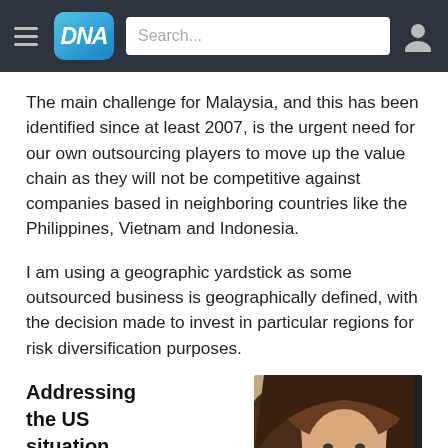DNA
The main challenge for Malaysia, and this has been identified since at least 2007, is the urgent need for our own outsourcing players to move up the value chain as they will not be competitive against companies based in neighboring countries like the Philippines, Vietnam and Indonesia.
I am using a geographic yardstick as some outsourced business is geographically defined, with the decision made to invest in particular regions for risk diversification purposes.
Addressing the US situation
[Figure (photo): Photograph of a person, partially cropped, showing head and upper shoulders with brown hair]